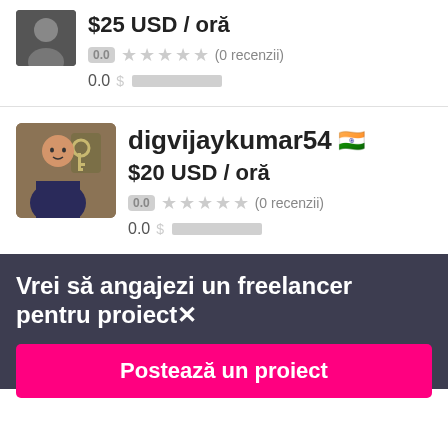$25 USD / oră
0.0 ★★★★★ (0 recenzii)
0.0 $ ██████████
digvijaykumar54 🇮🇳
$20 USD / oră
0.0 ★★★★★ (0 recenzii)
0.0 $ ██████████
Vrei să angajezi un freelancer pentru proiect✕
Postează un proiect